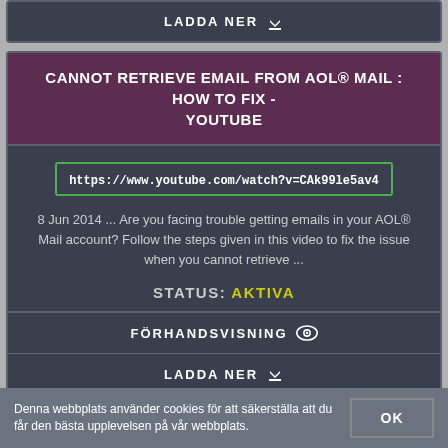LADDA NER
CANNOT RETRIEVE EMAIL FROM AOL® MAIL : HOW TO FIX - YOUTUBE
https://www.youtube.com/watch?v=CAk99le5av4
8 Jun 2014 ... Are you facing trouble getting emails in your AOL® Mail account? Follow the steps given in this video to fix the issue when you cannot retrieve ...
STATUS: AKTIVA
FÖRHANDSVISNING
LADDA NER
Denna webbplats använder cookies för att säkerställa att du får den bästa upplevelsen på vår webbplats.